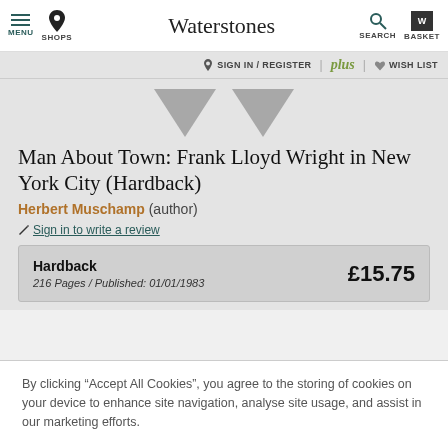Waterstones — MENU | SHOPS | SEARCH | BASKET
SIGN IN / REGISTER | plus | WISH LIST
[Figure (logo): Two grey downward-pointing V shapes, Waterstones decorative logo]
Man About Town: Frank Lloyd Wright in New York City (Hardback)
Herbert Muschamp (author)
Sign in to write a review
Hardback
216 Pages / Published: 01/01/1983
£15.75
By clicking “Accept All Cookies”, you agree to the storing of cookies on your device to enhance site navigation, analyse site usage, and assist in our marketing efforts.